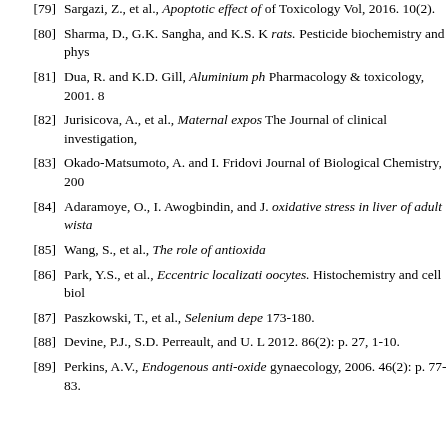[79] Sargazi, Z., et al., Apoptotic effect of... of Toxicology Vol, 2016. 10(2).
[80] Sharma, D., G.K. Sangha, and K.S. K... rats. Pesticide biochemistry and phys...
[81] Dua, R. and K.D. Gill, Aluminium ph... Pharmacology & toxicology, 2001. 8...
[82] Jurisicova, A., et al., Maternal expos... The Journal of clinical investigation,...
[83] Okado-Matsumoto, A. and I. Fridovi... Journal of Biological Chemistry, 200...
[84] Adaramoye, O., I. Awogbindin, and J... oxidative stress in liver of adult wista...
[85] Wang, S., et al., The role of antioxida...
[86] Park, Y.S., et al., Eccentric localizati... oocytes. Histochemistry and cell biol...
[87] Paszkowski, T., et al., Selenium depe... 173-180.
[88] Devine, P.J., S.D. Perreault, and U. L... 2012. 86(2): p. 27, 1-10.
[89] Perkins, A.V., Endogenous anti-oxide... gynaecology, 2006. 46(2): p. 77-83...